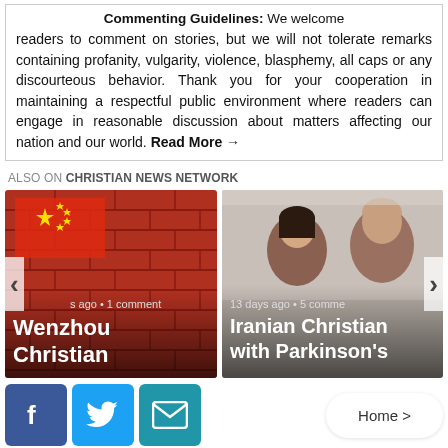Commenting Guidelines: We welcome readers to comment on stories, but we will not tolerate remarks containing profanity, vulgarity, violence, blasphemy, all caps or any discourteous behavior. Thank you for your cooperation in maintaining a respectful public environment where readers can engage in reasonable discussion about matters affecting our nation and our world. Read More →
ALSO ON CHRISTIAN NEWS NETWORK
[Figure (photo): Wenzhou Christian - Chinese flag on brick wall background with article card overlay showing 's ago • 1 comment' and title 'Wenzhou Christian']
[Figure (photo): Iranian Christian with Parkinson's - photo of two people, article card overlay showing '13 days ago • 5 comme...' and title 'Iranian Christian with Parkinson's']
Home >